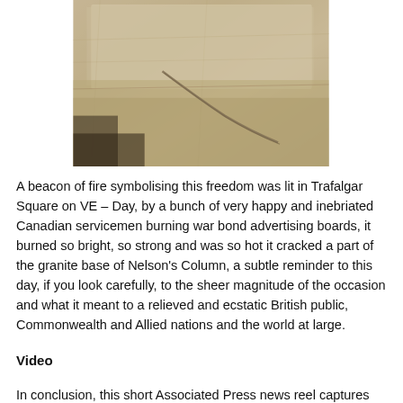[Figure (photo): Close-up photo of cracked granite stone surface, beige/sandy colored rock with a visible crack or fissure running diagonally across it.]
A beacon of fire symbolising this freedom was lit in Trafalgar Square on VE – Day, by a bunch of very happy and inebriated Canadian servicemen burning war bond advertising boards, it burned so bright, so strong and was so hot it cracked a part of the granite base of Nelson's Column, a subtle reminder to this day, if you look carefully, to the sheer magnitude of the occasion and what it meant to a relieved and ecstatic British public, Commonwealth and Allied nations and the world at large.
Video
In conclusion, this short Associated Press news reel captures